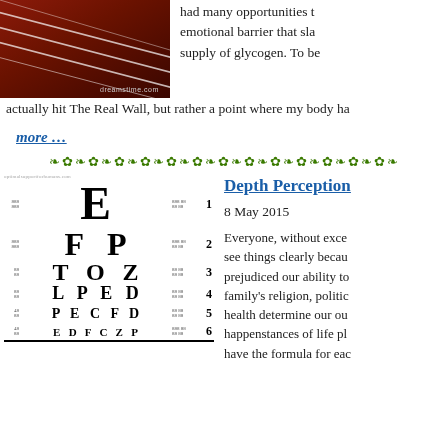[Figure (photo): A photo of athletic running track with diagonal red/brown lanes and white lines, watermarked with dreamstime.com]
had many opportunities to emotional barrier that sla supply of glycogen. To be actually hit The Real Wall, but rather a point where my body ha
more …
[Figure (illustration): Snellen eye chart showing letters E, FP, TOZ, LPED, PECFD, EDFCZP with row numbers 1-6 and side labels]
Depth Perception
8 May 2015
Everyone, without exce see things clearly becau prejudiced our ability to family's religion, politic health determine our ou happenstances of life pl have the formula for eac